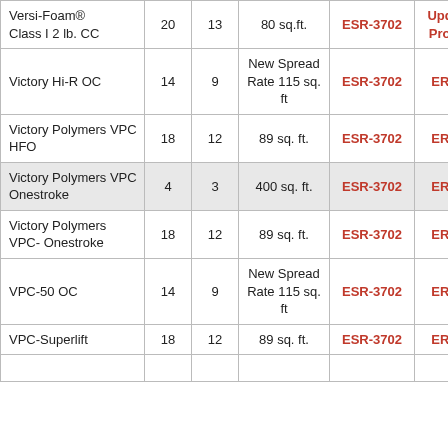| Product | Col1 | Col2 | Spread | Code1 | Code2 | Code3 |
| --- | --- | --- | --- | --- | --- | --- |
| Versi-Foam® Class I 2 lb. CC | 20 | 13 | 80 sq.ft. | ESR-3702 | Update in Progress |  |
| Victory Hi-R OC | 14 | 9 | New Spread Rate 115 sq. ft | ESR-3702 | ER-0499 | ER-067 |
| Victory Polymers VPC HFO | 18 | 12 | 89 sq. ft. | ESR-3702 | ER-0499 | ESR-449 |
| Victory Polymers VPC Onestroke | 4 | 3 | 400 sq. ft. | ESR-3702 | ER-0499 | ER-059 |
| Victory Polymers VPC- Onestroke | 18 | 12 | 89 sq. ft. | ESR-3702 | ER-0499 | ER-059 |
| VPC-50 OC | 14 | 9 | New Spread Rate 115 sq. ft | ESR-3702 | ER-0499 | ER-067 |
| VPC-Superlift | 18 | 12 | 89 sq. ft. | ESR-3702 | ER-0499 | ER-065 |